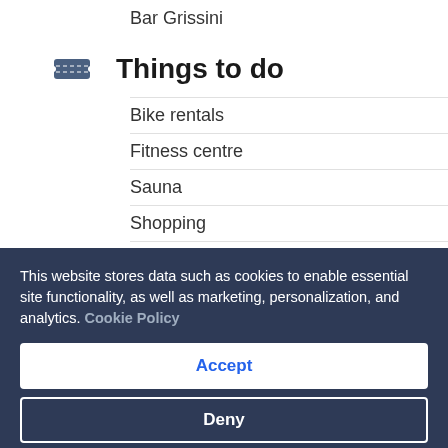Bar Grissini
Things to do
Bike rentals
Fitness centre
Sauna
Shopping
Spa services
Steam room
Family friendly
This website stores data such as cookies to enable essential site functionality, as well as marketing, personalization, and analytics. Cookie Policy
Accept
Deny